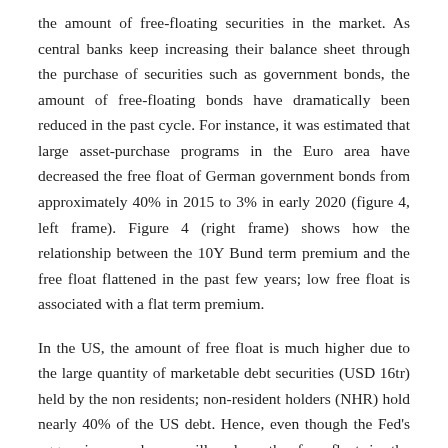the amount of free-floating securities in the market. As central banks keep increasing their balance sheet through the purchase of securities such as government bonds, the amount of free-floating bonds have dramatically been reduced in the past cycle. For instance, it was estimated that large asset-purchase programs in the Euro area have decreased the free float of German government bonds from approximately 40% in 2015 to 3% in early 2020 (figure 4, left frame). Figure 4 (right frame) shows how the relationship between the 10Y Bund term premium and the free float flattened in the past few years; low free float is associated with a flat term premium.
In the US, the amount of free float is much higher due to the large quantity of marketable debt securities (USD 16tr) held by the non residents; non-resident holders (NHR) hold nearly 40% of the US debt. Hence, even though the Fed's aggressive purchases will reduce the free float in the medium term, there is still the risk of a